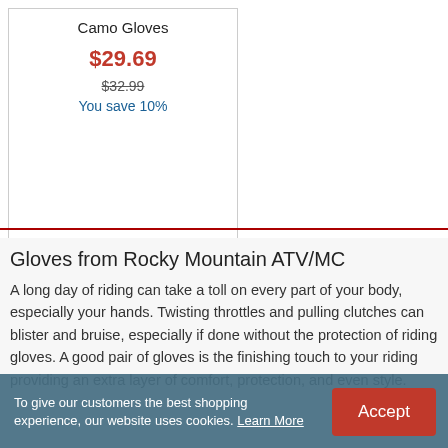Camo Gloves
$29.69
$32.99
You save 10%
Gloves from Rocky Mountain ATV/MC
A long day of riding can take a toll on every part of your body, especially your hands. Twisting throttles and pulling clutches can blister and bruise, especially if done without the protection of riding gloves. A good pair of gloves is the finishing touch to your riding providing an extra layer of comfort, protection, and even style.
To give our customers the best shopping experience, our website uses cookies. Learn More
Accept